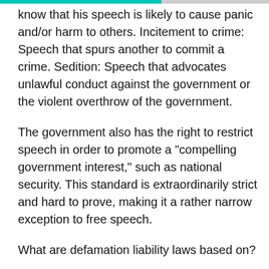know that his speech is likely to cause panic and/or harm to others. Incitement to crime: Speech that spurs another to commit a crime. Sedition: Speech that advocates unlawful conduct against the government or the violent overthrow of the government.
The government also has the right to restrict speech in order to promote a "compelling government interest," such as national security. This standard is extraordinarily strict and hard to prove, making it a rather narrow exception to free speech.
What are defamation liability laws based on?